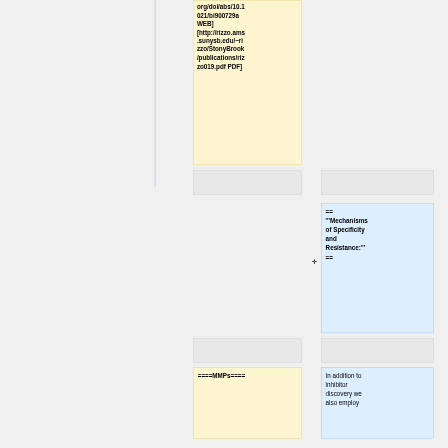org/doi/abs/10.1021/bi900729a WEB] [http://rizzo.ams.sunysb.edu/~rizzo/StonyBrook/publications/rizzo019.pdf PDF]
== '''Mechanisms of Specificity and Resistance:''' ==
====MMPs====
In addition to inhibitor discovery we also employ